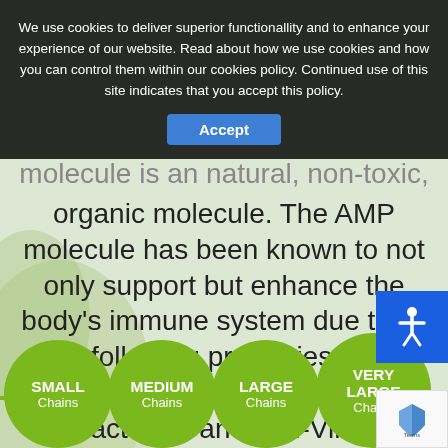[Figure (photo): Background photo of green plant leaves, muted and light.]
We use cookies to deliver superior functionallity and to enhance your experience of our website. Read about how we use cookies and how you can control them within our cookies policy. Continued use of this site indicates that you accept this policy.
molecule is an natural, non-toxic, organic molecule. The AMP molecule has been known to not only support but enhance the body's immune system due to all the following properties: Anti-Inflammation*, Antioxidant*, Anti-Bacterial* and Anti-Viral*
[Figure (infographic): Four green circular buttons labeled SMALL Chains, MEDIUM Chains, LARGE Chains, VERY LARGE Chains, connected in a row at the bottom of the page.]